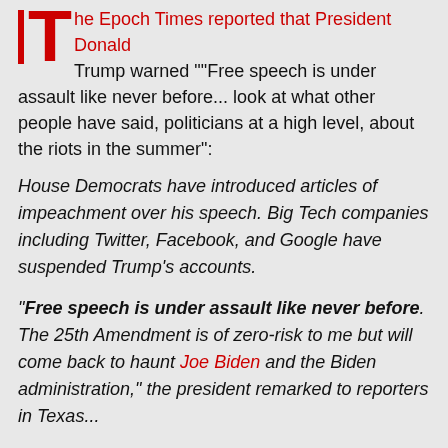The Epoch Times reported that President Donald Trump warned ""Free speech is under assault like never before... look at what other people have said, politicians at a high level, about the riots in the summer":
House Democrats have introduced articles of impeachment over his speech. Big Tech companies including Twitter, Facebook, and Google have suspended Trump's accounts.
"Free speech is under assault like never before. The 25th Amendment is of zero-risk to me but will come back to haunt Joe Biden and the Biden administration," the president remarked to reporters in Texas...
... Earlier in the day, before he left for Texas, the